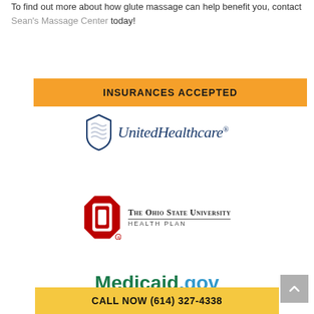To find out more about how glute massage can help benefit you, contact Sean's Massage Center today!
INSURANCES ACCEPTED
[Figure (logo): UnitedHealthcare logo with blue shield icon and text]
[Figure (logo): The Ohio State University Health Plan logo with red block O]
[Figure (logo): Medicaid.gov logo in green and blue text (partially visible)]
CALL NOW (614) 327-4338